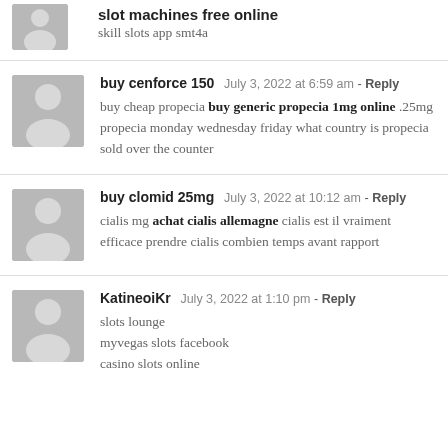slot machines free online
skill slots app smt4a
buy cenforce 150  July 3, 2022 at 6:59 am - Reply
buy cheap propecia buy generic propecia 1mg online .25mg propecia monday wednesday friday what country is propecia sold over the counter
buy clomid 25mg  July 3, 2022 at 10:12 am - Reply
cialis mg achat cialis allemagne cialis est il vraiment efficace prendre cialis combien temps avant rapport
KatineoiKr  July 3, 2022 at 1:10 pm - Reply
slots lounge
myvegas slots facebook
casino slots online